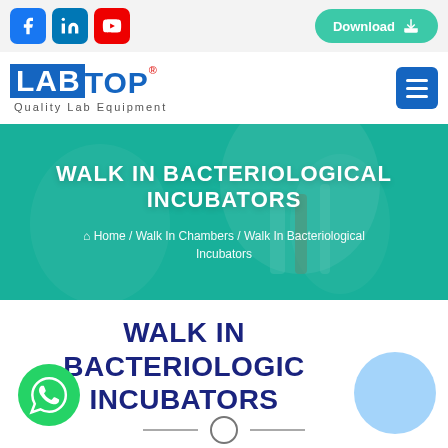Social icons: Facebook, LinkedIn, YouTube | Download button
[Figure (logo): LABTOP Quality Lab Equipment logo with blue background on LAB letters and blue text for TOP, with registered trademark symbol]
[Figure (photo): Hero banner with teal/turquoise tinted background showing a lab worker in white coat handling test tubes]
WALK IN BACTERIOLOGICAL INCUBATORS
Home / Walk In Chambers / Walk In Bacteriological Incubators
WALK IN BACTERIOLOGICAL INCUBATORS